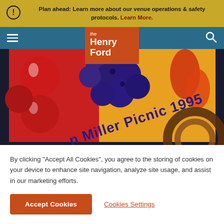Plan ahead: Learn more about our venue operations & safety protocols. Learn More.
[Figure (screenshot): The Henry Ford museum website navigation bar with orange logo block and blue nav bar with hamburger menu and search icon]
[Figure (photo): Colorful graphic artwork showing fruits (red apples, purple grapes), yellow background with text 'Herman Miller Picnic 1995' on a diagonal banner ribbon]
By clicking "Accept All Cookies", you agree to the storing of cookies on your device to enhance site navigation, analyze site usage, and assist in our marketing efforts.
Accept Cookies
Cookies Settings